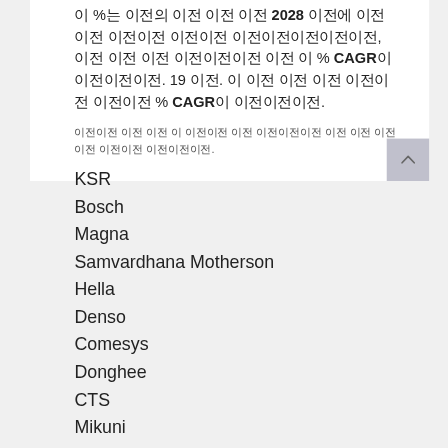이 %는 이전의 이전 이전 이전 2028 이전에 이전 이전 이전이전 이전이전 이전이전이전이전, 이전 이전 이전 이전이전이전 이전 이 % CAGR이 이전이전이전. 19 이전. 이 이전 이전 이전 이전이전 이전이전 % CAGR이 이전이전이전.
이전이전 이전 이전 이 이전이전 이전 이전이전이전 이전 이전 이전이전 이전이전 이전이전이전.
KSR
Bosch
Magna
Samvardhana Motherson
Hella
Denso
Comesys
Donghee
CTS
Mikuni
F-Tech
East Bo